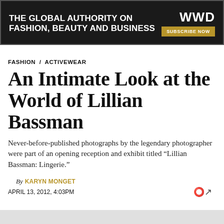[Figure (other): WWD advertisement banner: black background with white bold text 'THE GLOBAL AUTHORITY ON FASHION, BEAUTY AND BUSINESS', WWD logo in top right, gold 'SUBSCRIBE NOW' button]
FASHION / ACTIVEWEAR
An Intimate Look at the World of Lillian Bassman
Never-before-published photographs by the legendary photographer were part of an opening reception and exhibit titled “Lillian Bassman: Lingerie.”
By KARYN MONGET
APRIL 13, 2012, 4:03PM
[Figure (photo): Partial bottom edge of a photograph, cropped at the bottom of the page]